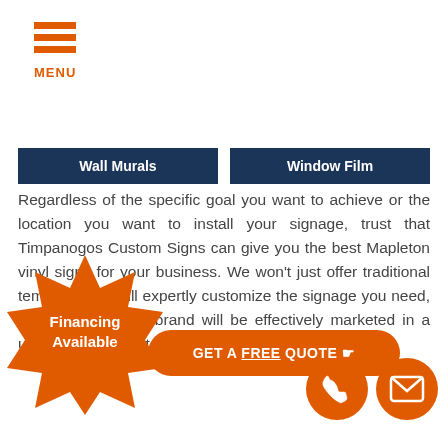[Figure (infographic): Orange hamburger menu icon with three horizontal bars and MENU text below]
[Figure (infographic): Two dark navy blue navigation buttons: Wall Murals and Window Film]
Regardless of the specific goal you want to achieve or the location you want to install your signage, trust that Timpanogos Custom Signs can give you the best Mapleton vinyl signs for your business. We won't just offer traditional templates but will expertly customize the signage you need, ensuring that your brand will be effectively marketed in a unique and eye-catching way.
[Figure (infographic): Orange starburst badge with white text: Financing Available]
[Figure (infographic): Orange rounded rectangle CTA button: GET A FREE QUOTE with cursor icon]
[Figure (infographic): Orange circle with white phone icon]
[Figure (infographic): Orange circle with white envelope/mail icon]